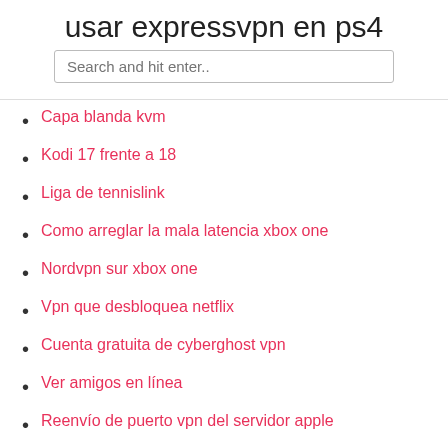usar expressvpn en ps4
Capa blanda kvm
Kodi 17 frente a 18
Liga de tennislink
Como arreglar la mala latencia xbox one
Nordvpn sur xbox one
Vpn que desbloquea netflix
Cuenta gratuita de cyberghost vpn
Ver amigos en línea
Reenvío de puerto vpn del servidor apple
¿dónde se encuentra la contraseña en el enrutador repentino_